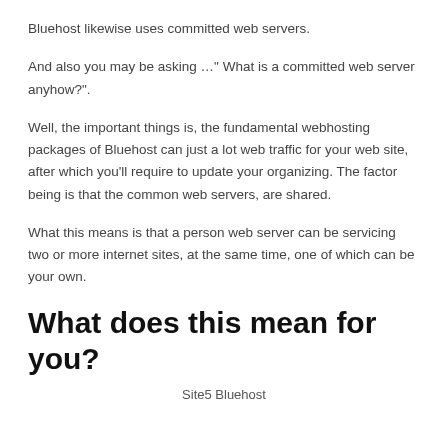Bluehost likewise uses committed web servers.
And also you may be asking …" What is a committed web server anyhow?".
Well, the important things is, the fundamental webhosting packages of Bluehost can just a lot web traffic for your web site, after which you'll require to update your organizing. The factor being is that the common web servers, are shared.
What this means is that a person web server can be servicing two or more internet sites, at the same time, one of which can be your own.
What does this mean for you?
[Figure (other): Broken image placeholder labeled 'Site5 Bluehost']